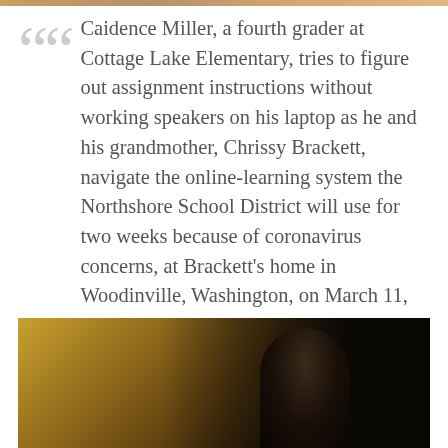Caidence Miller, a fourth grader at Cottage Lake Elementary, tries to figure out assignment instructions without working speakers on his laptop as he and his grandmother, Chrissy Brackett, navigate the online-learning system the Northshore School District will use for two weeks because of coronavirus concerns, at Brackett's home in Woodinville, Washington, on March 11, 2020.
[Figure (photo): Dark photograph showing a partially lit scene with warm golden-yellow tones on the left side transitioning to near-black darkness on the right, with a silhouette of a person visible.]